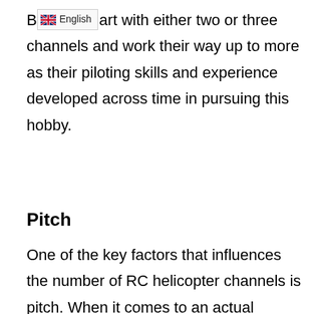Beginners start with either two or three channels and work their way up to more as their piloting skills and experience developed across time in pursuing this hobby.
Pitch
One of the key factors that influences the number of RC helicopter channels is pitch. When it comes to an actual helicopter, the primary method of making